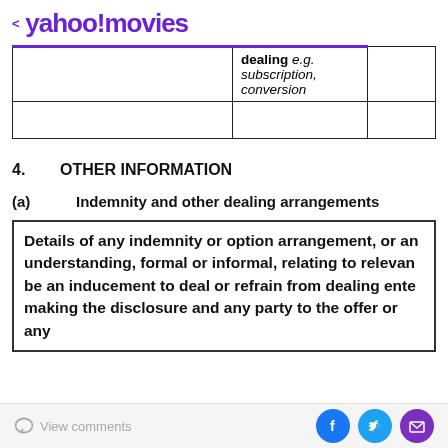< yahoo!movies
|  | dealing e.g. subscription, conversion |  |
|  |  |  |
4.   OTHER INFORMATION
(a)   Indemnity and other dealing arrangements
Details of any indemnity or option arrangement, or an understanding, formal or informal, relating to relevant be an inducement to deal or refrain from dealing enter making the disclosure and any party to the offer or any
View comments